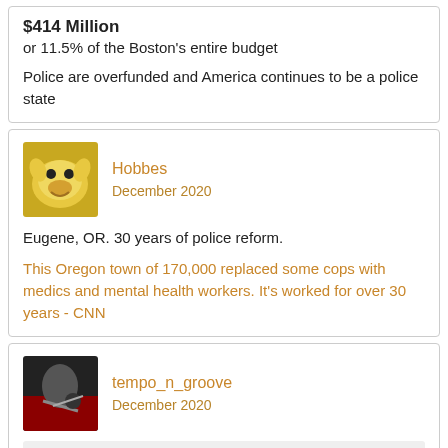$414 Million
or 11.5% of the Boston's entire budget

Police are overfunded and America continues to be a police state
Hobbes
December 2020

Eugene, OR. 30 years of police reform.

This Oregon town of 170,000 replaced some cops with medics and mental health workers. It's worked for over 30 years - CNN
tempo_n_groove
December 2020

Hobbes said:
Eugene, OR. 30 years of police reform.